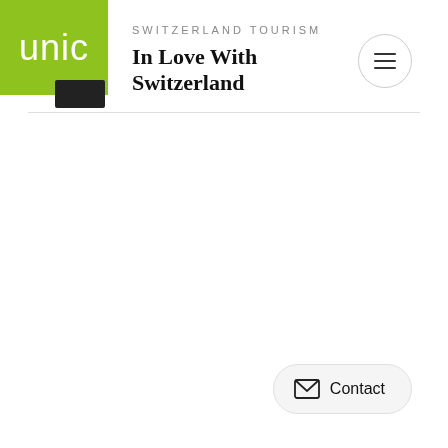[Figure (logo): unic logo - green square with white lowercase text 'unic']
SWITZERLAND TOURISM
In Love With Switzerland
[Figure (other): Hamburger menu button - circular button with three horizontal lines]
[Figure (other): Contact button with envelope icon and 'Contact' text]